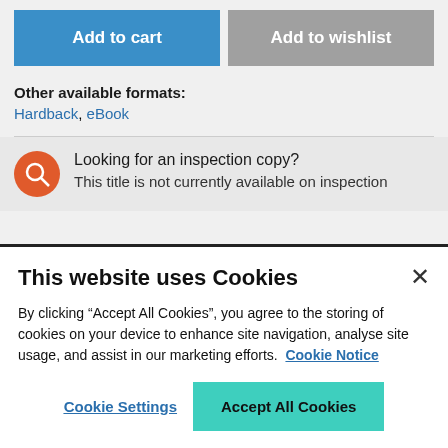Add to cart
Add to wishlist
Other available formats: Hardback, eBook
Looking for an inspection copy?
This title is not currently available on inspection
This website uses Cookies
By clicking “Accept All Cookies”, you agree to the storing of cookies on your device to enhance site navigation, analyse site usage, and assist in our marketing efforts. Cookie Notice
Cookie Settings
Accept All Cookies